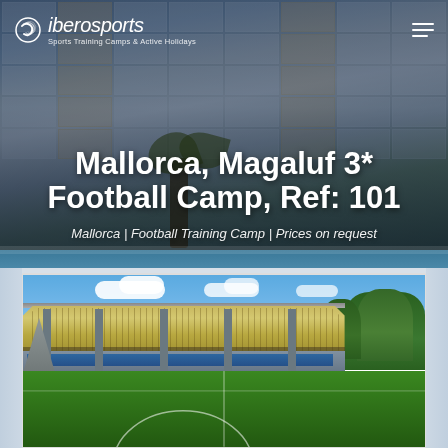[Figure (photo): Hero background showing a hotel building with balconies in Magaluf, Mallorca, with a pool area visible at the bottom]
iberosports — Sports Training Camps & Active Holidays
Mallorca, Magaluf 3* Football Camp, Ref: 101
Mallorca | Football Training Camp | Prices on request
[Figure (photo): Stadium photo showing a football pitch with green turf, a covered grandstand with yellow/wooden roof structure, blue seating, and trees in the background under a blue sky with white clouds]